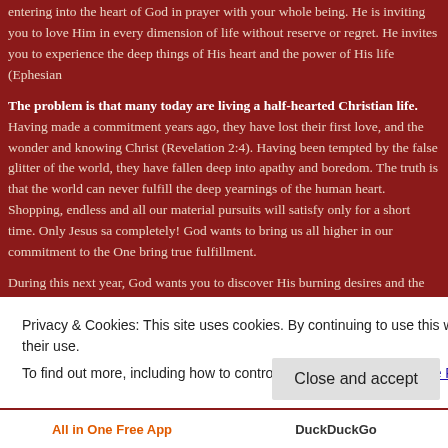entering into the heart of God in prayer with your whole being. He is inviting you to love Him in every dimension of life without reserve or regret. He invites you to experience the deep things of His heart and the power of His life (Ephesian
The problem is that many today are living a half-hearted Christian life. Having made a commitment years ago, they have lost their first love, and the wonder and knowing Christ (Revelation 2:4). Having been tempted by the false glitter of the world, they have fallen deep into apathy and boredom. The truth is that the world can never fulfill the deep yearnings of the human heart. Shopping, endless and all our material pursuits will satisfy only for a short time. Only Jesus sa completely! God wants to bring us all higher in our commitment to the One bring true fulfillment.
During this next year, God wants you to discover His burning desires and the consuming yearnings of His heart. He wants you to enter His heart in revere
Privacy & Cookies: This site uses cookies. By continuing to use this website, you agree to their use.
To find out more, including how to control cookies, see here: Cookie Policy
Close and accept
All in One Free App
DuckDuckGo